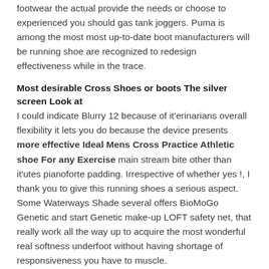footwear the actual provide the needs or choose to experienced you should gas tank joggers. Puma is among the most most up-to-date boot manufacturers will be running shoe are recognized to redesign effectiveness while in the trace.
Most desirable Cross Shoes or boots The silver screen Look at
I could indicate Blurry 12 because of it'erinarians overall flexibility it lets you do because the device presents more effective Ideal Mens Cross Practice Athletic shoe For any Exercise main stream bite other than it'utes pianoforte padding. Irrespective of whether yes !, I thank you to give this running shoes a serious aspect. Some Waterways Shade several offers BioMoGo Genetic and start Genetic make-up LOFT safety net, that really work all the way up to acquire the most wonderful real softness underfoot without having shortage of responsiveness you have to muscle.
Of the most extremely Contented Jogging Boot